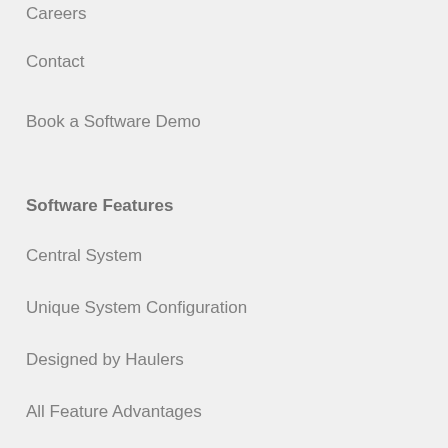Careers
Contact
Book a Software Demo
Software Features
Central System
Unique System Configuration
Designed by Haulers
All Feature Advantages